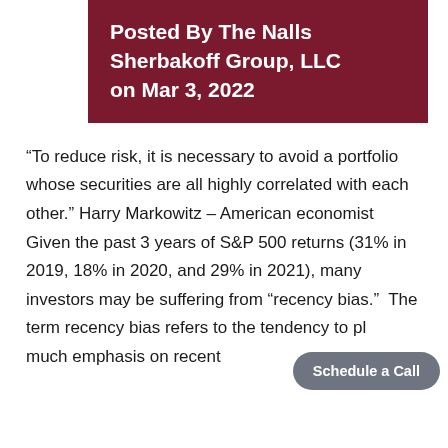Posted By The Nalls Sherbakoff Group, LLC on Mar 3, 2022
“To reduce risk, it is necessary to avoid a portfolio whose securities are all highly correlated with each other.” Harry Markowitz – American economist Given the past 3 years of S&P 500 returns (31% in 2019, 18% in 2020, and 29% in 2021), many investors may be suffering from “recency bias.”  The term recency bias refers to the tendency to place much emphasis on recent events...